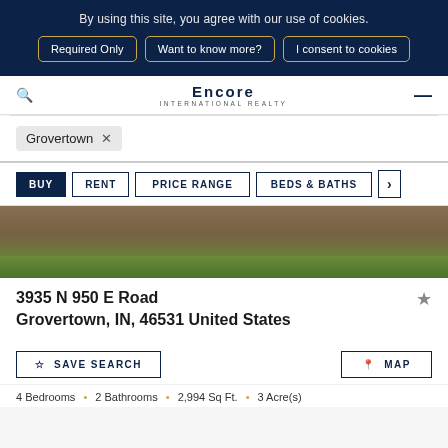By using this site, you agree with our use of cookies.
Required Only
Want to know more?
I consent to cookies
Encore | INTERNATIONAL REALTY
Grovertown ×
BUY   RENT   PRICE RANGE   BEDS & BATHS
[Figure (photo): Aerial or ground-level view of a gravel or sandy terrain with green grass at the bottom edge, appearing to be a vacant land property listing image.]
3935 N 950 E Road
Grovertown, IN, 46531 United States
☆ SAVE SEARCH
📍 MAP
4 Bedrooms • 2 Bathrooms • 2,994 Sq Ft. • 3 Acre(s)